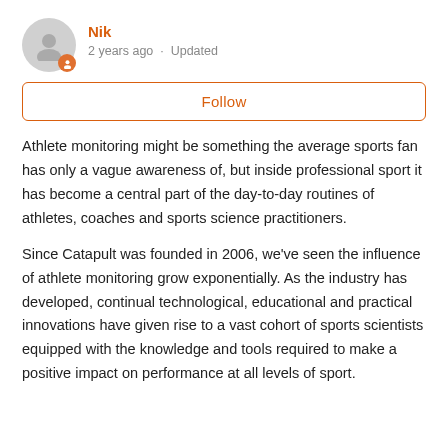Nik
2 years ago · Updated
Follow
Athlete monitoring might be something the average sports fan has only a vague awareness of, but inside professional sport it has become a central part of the day-to-day routines of athletes, coaches and sports science practitioners.
Since Catapult was founded in 2006, we've seen the influence of athlete monitoring grow exponentially. As the industry has developed, continual technological, educational and practical innovations have given rise to a vast cohort of sports scientists equipped with the knowledge and tools required to make a positive impact on performance at all levels of sport.